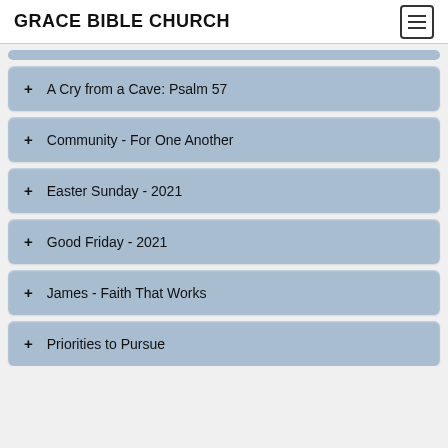GRACE BIBLE CHURCH
+ A Cry from a Cave: Psalm 57
+ Community - For One Another
+ Easter Sunday - 2021
+ Good Friday - 2021
+ James - Faith That Works
+ Priorities to Pursue